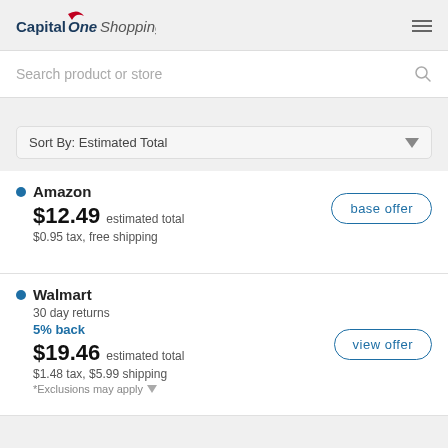Capital One Shopping
Search product or store
Sort By: Estimated Total
Amazon
$12.49 estimated total
$0.95 tax, free shipping
base offer
Walmart
30 day returns
5% back
$19.46 estimated total
$1.48 tax, $5.99 shipping
*Exclusions may apply
view offer